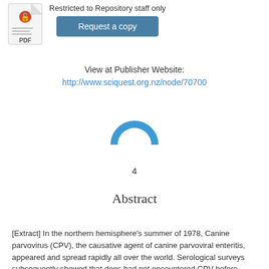[Figure (other): PDF icon thumbnail showing a document with red open-access lock icon and 'PDF' label]
Restricted to Repository staff only
Request a copy
View at Publisher Website:
http://www.sciquest.org.nz/node/70700
[Figure (other): Partial blue donut/pie chart segment visible at top (mostly cropped)]
4
Abstract
[Extract] In the northern hemisphere's summer of 1978, Canine parvovirus (CPV), the causative agent of canine parvoviral enteritis, appeared and spread rapidly all over the world. Serological surveys subsequently showed that dogs had not encountered CPV before 1974 in Europe. It is thought that CPV arose by mutation of a precursor parvovirus, probably one that had been circulating in Europe for some time among one or more carnivore species. An alternative and enticing suggestion was that CPV had arisen from a modified